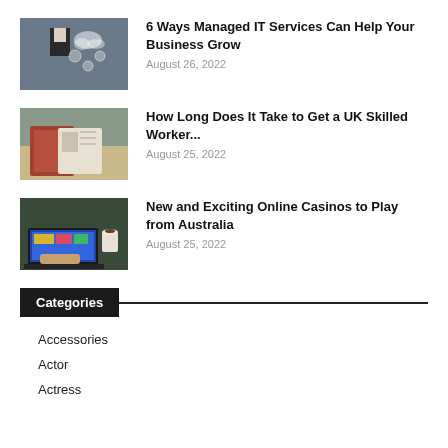[Figure (photo): Person in suit with digital cloud and tech icons overlay]
6 Ways Managed IT Services Can Help Your Business Grow
August 26, 2022
[Figure (photo): Open passport and travel document on table]
How Long Does It Take to Get a UK Skilled Worker...
August 25, 2022
[Figure (photo): Hands typing on laptop with colorful screen and coffee cup]
New and Exciting Online Casinos to Play from Australia
August 25, 2022
Categories
Accessories
Actor
Actress